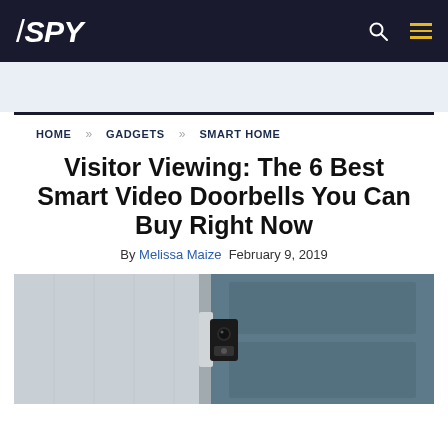SPY
HOME   GADGETS   SMART HOME
Visitor Viewing: The 6 Best Smart Video Doorbells You Can Buy Right Now
By Melissa Maize  February 9, 2019
[Figure (photo): Photo of a smart video doorbell mounted near a blue door]